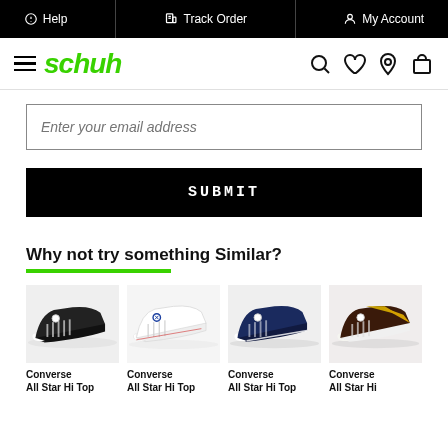Help | Track Order | My Account
[Figure (logo): Schuh logo with hamburger menu and navigation icons (search, heart, location, bag)]
Enter your email address
SUBMIT
Why not try something Similar?
[Figure (photo): Four Converse All Star Hi Top shoes in black, white, navy, and multi-color]
Converse All Star Hi Top | Converse All Star Hi Top | Converse All Star Hi Top | Converse All Star Hi